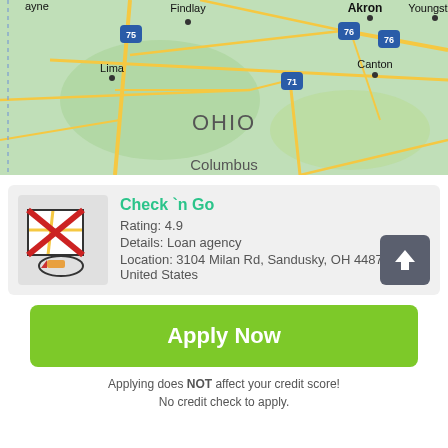[Figure (map): Road map showing Ohio region with cities including Findlay, Lima, Akron, Canton, Youngstown, and Columbus visible. Interstate highways 75, 76, and 71 labeled. Green terrain background with yellow roads.]
Check `n Go
Rating: 4.9
Details: Loan agency
Location: 3104 Milan Rd, Sandusky, OH 44870, United States
Apply Now
Applying does NOT affect your credit score!
No credit check to apply.